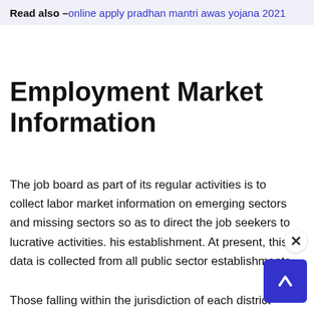Read also – online apply pradhan mantri awas yojana 2021
Employment Market Information
The job board as part of its regular activities is to collect labor market information on emerging sectors and missing sectors so as to direct the job seekers to lucrative activities. his establishment. At present, this data is collected from all public sector establishments.
Those falling within the jurisdiction of each district and